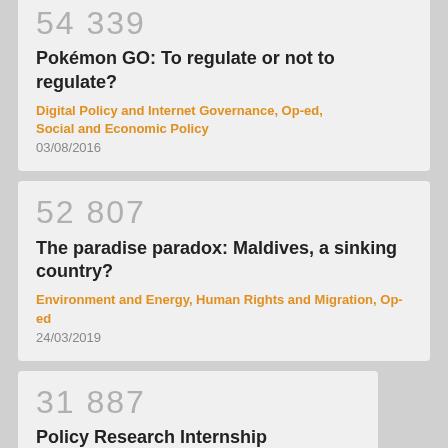54 339
Pokémon GO: To regulate or not to regulate?
Digital Policy and Internet Governance, Op-ed, Social and Economic Policy
03/08/2016
52 807
The paradise paradox: Maldives, a sinking country?
Environment and Energy, Human Rights and Migration, Op-ed
24/03/2019
31 887
Policy Research Internship
Opportunities
22/10/2018
23 340